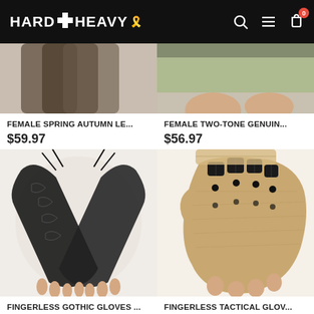HARD N HEAVY
[Figure (photo): Female spring autumn leather gloves product image (partially visible, cropped at top)]
FEMALE SPRING AUTUMN LE...
$59.97
[Figure (photo): Female two-tone genuine leather gloves product image (partially visible, cropped at top)]
FEMALE TWO-TONE GENUIN...
$56.97
[Figure (photo): Fingerless gothic lace gloves crossing arms, black lace with tie detail]
FINGERLESS GOTHIC GLOVES ...
$25.97
[Figure (photo): Fingerless tactical glove in tan/brown with black knuckle armor, hand facing viewer]
FINGERLESS TACTICAL GLOV...
$31.97